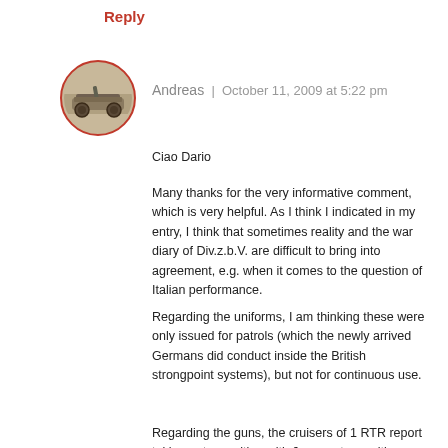Reply
[Figure (photo): Circular avatar photo with red border showing a military tank/gun]
Andreas | October 11, 2009 at 5:22 pm
Ciao Dario
Many thanks for the very informative comment, which is very helpful. As I think I indicated in my entry, I think that sometimes reality and the war diary of Div.z.b.V. are difficult to bring into agreement, e.g. when it comes to the question of Italian performance.
Regarding the uniforms, I am thinking these were only issued for patrols (which the newly arrived Germans did conduct inside the British strongpoint systems), but not for continuous use.
Regarding the guns, the cruisers of 1 RTR report taking out a position with 6 guns at a position almost due east of objective TIGER (about 2km) and then another position further south.